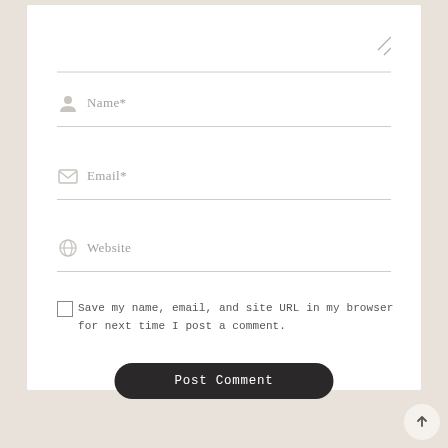[Figure (screenshot): A web comment form with fields for Name, Email, Website, a checkbox for saving browser data, and a Post Comment button on a light beige background.]
Name*
Email*
Website
Save my name, email, and site URL in my browser for next time I post a comment.
Post Comment